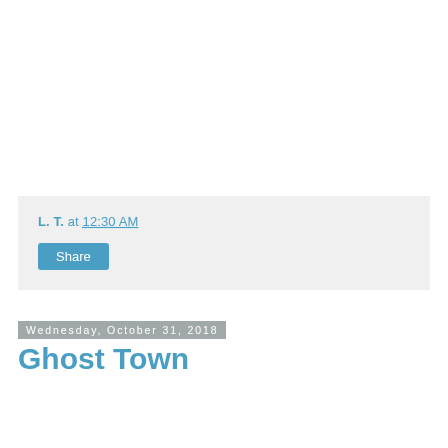L. T. at 12:30 AM
Share
Wednesday, October 31, 2018
Ghost Town